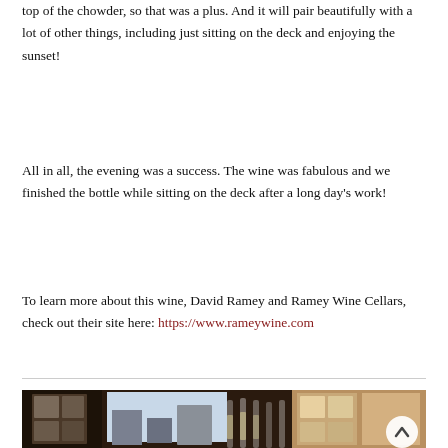top of the chowder, so that was a plus. And it will pair beautifully with a lot of other things, including just sitting on the deck and enjoying the sunset!
All in all, the evening was a success. The wine was fabulous and we finished the bottle while sitting on the deck after a long day's work!
To learn more about this wine, David Ramey and Ramey Wine Cellars, check out their site here: https://www.rameywine.com
[Figure (photo): Photo of champagne or white wine glasses lined up on a table near windows overlooking buildings, with a scroll-to-top button overlay in the lower right corner.]